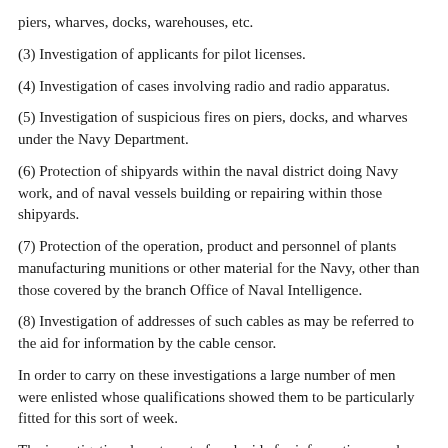piers, wharves, docks, warehouses, etc.
(3) Investigation of applicants for pilot licenses.
(4) Investigation of cases involving radio and radio apparatus.
(5) Investigation of suspicious fires on piers, docks, and wharves under the Navy Department.
(6) Protection of shipyards within the naval district doing Navy work, and of naval vessels building or repairing within those shipyards.
(7) Protection of the operation, product and personnel of plants manufacturing munitions or other material for the Navy, other than those covered by the branch Office of Naval Intelligence.
(8) Investigation of addresses of such cables as may be referred to the aid for information by the cable censor.
In order to carry on these investigations a large number of men were enlisted whose qualifications showed them to be particularly fitted for this sort of week.
The investigation department of each aide for information was by no means the only work done by them for an equally important job was the